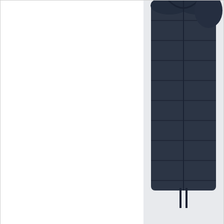[Figure (photo): Top portion of a product listing card showing a navy quilted jacket/coat on the right side of the card, mostly cropped into view. White background on the left portion of the card.]
£2
Barbour Mens Sheldon
[Figure (photo): Bottom product listing card showing a model wearing an olive/dark green Barbour Sheldon jacket. The model's torso and partial head are visible on the right side of the card.]